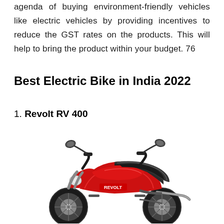agenda of buying environment-friendly vehicles like electric vehicles by providing incentives to reduce the GST rates on the products. This will help to bring the product within your budget. 76
Best Electric Bike in India 2022
1. Revolt RV 400
[Figure (photo): Photo of the Revolt RV 400 electric bike, shown in red and black color, side view, featuring handlebars with mirrors, a sporty body, and a seat.]